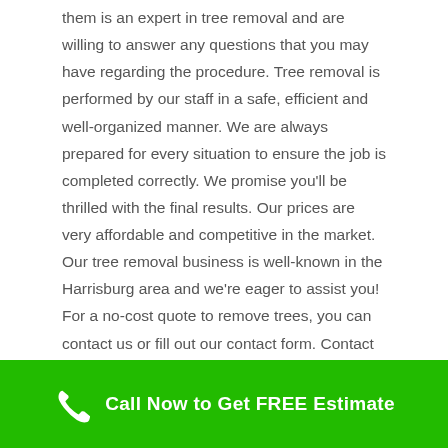them is an expert in tree removal and are willing to answer any questions that you may have regarding the procedure. Tree removal is performed by our staff in a safe, efficient and well-organized manner. We are always prepared for every situation to ensure the job is completed correctly. We promise you'll be thrilled with the final results. Our prices are very affordable and competitive in the market. Our tree removal business is well-known in the Harrisburg area and we're eager to assist you! For a no-cost quote to remove trees, you can contact us or fill out our contact form. Contact our trusted company as quickly as you can to make an appointment to receive Harrisburg's most efficient tree removal services.

Trees need to be removed due to various reasons, such as decay, death, hazards to the public, and for construction. Since
Call Now to Get FREE Estimate